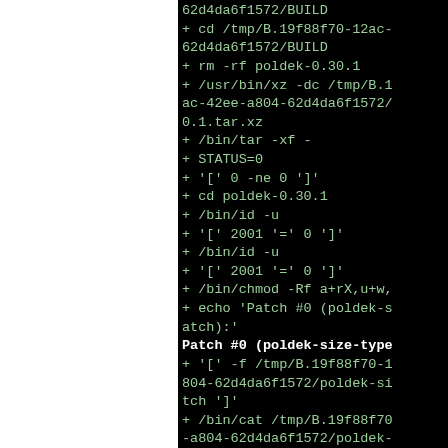62d4da6f1572/BUILD
+ cd /tmp/B.19f88f70-12ac-
62d4da6f1572/BUILD
+ rm -rf poldek-0.30.1
+ /usr/bin/xz -dc /tmp/B.1
ac-42ee-a804-62d4da6f1572/
0.1.tar.xz
+ /bin/tar -xf -
+ STATUS=0
+ '[' 0 -ne 0 ']'
+ cd poldek-0.30.1
+ /bin/id -u
+ '[' 2001 '=' 0 ']'
+ /bin/id -u
+ '[' 2001 '=' 0 ']'
+ /bin/chmod -Rf a+rX,u+w,
+ echo 'Patch #0 (poldek-s
atch):'
Patch #0 (poldek-size-type
+ '[' -f /tmp/B.19f88f70-1
804-62d4da6f1572/poldek-si
tch ']'
+ /bin/cat /tmp/B.19f88f70
-a804-62d4da6f1572/poldek-